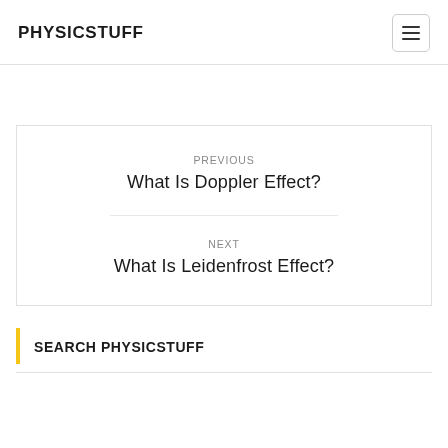PHYSICSTUFF
PREVIOUS
What Is Doppler Effect?
NEXT
What Is Leidenfrost Effect?
SEARCH PHYSICSTUFF